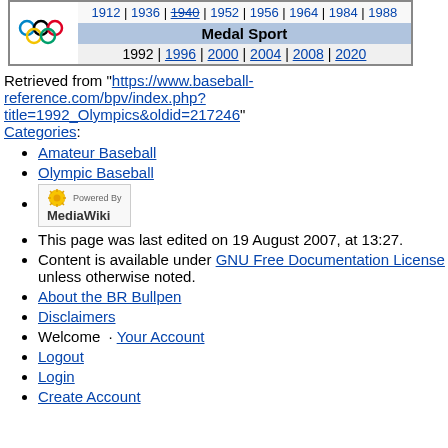| [Olympic rings logo] | 1912 | 1936 | 1940 | 1952 | 1956 | 1964 | 1984 | 1988 |
|  | Medal Sport |
|  | 1992 | 1996 | 2000 | 2004 | 2008 | 2020 |
Retrieved from "https://www.baseball-reference.com/bpv/index.php?title=1992_Olympics&oldid=217246"
Categories:
Amateur Baseball
Olympic Baseball
[MediaWiki powered badge]
This page was last edited on 19 August 2007, at 13:27.
Content is available under GNU Free Documentation License unless otherwise noted.
About the BR Bullpen
Disclaimers
Welcome  · Your Account
Logout
Login
Create Account